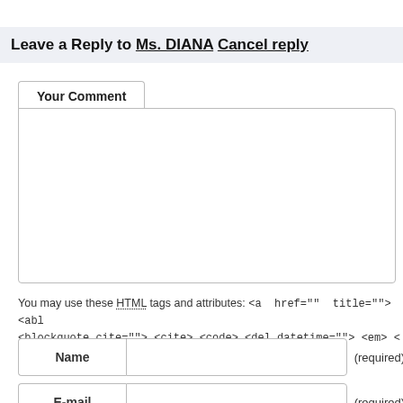Leave a Reply to Ms. DIANA Cancel reply
Your Comment
You may use these HTML tags and attributes: <a href="" title=""> <abl <blockquote cite=""> <cite> <code> <del datetime=""> <em> <
Name (required)
E-mail (required)
URL